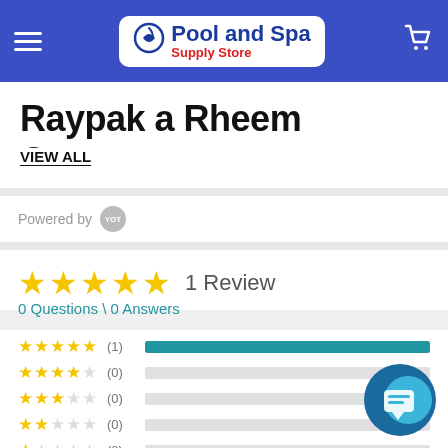Pool and Spa Supply Store
Raypak a Rheem Company
VIEW ALL
Powered by [Yotpo]
★★★★★  1 Review
0 Questions \ 0 Answers
★★★★★ (1)
★★★★☆ (0)
★★★☆☆ (0)
★★☆☆☆ (0)
★☆☆☆☆ (0)